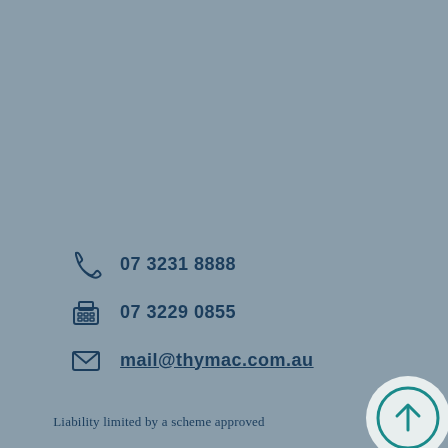07 3231 8888
07 3229 0855
mail@thymac.com.au
Liability limited by a scheme approved